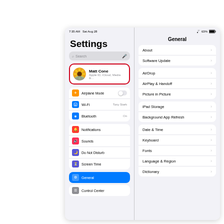[Figure (screenshot): iPad Settings app screenshot showing left panel with Settings title, search bar, Matt Cone profile (highlighted with red border), Airplane Mode, Wi-Fi (Tony Stark), Bluetooth (On), Notifications, Sounds, Do Not Disturb, Screen Time settings rows, General selected in blue, and Control Center partially visible. Right panel shows General settings with About, Software Update, AirDrop, AirPlay & Handoff, Picture in Picture, iPad Storage, Background App Refresh, Date & Time, Keyboard, Fonts, Language & Region, Dictionary rows. Status bar shows 7:35 AM Sat Aug 28 on left and WiFi 63% battery on right.]